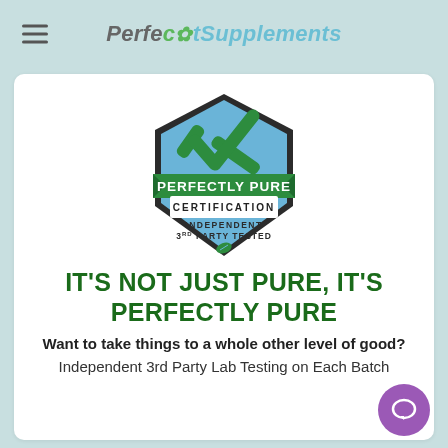Perfect Supplements
[Figure (logo): Perfectly Pure Certification badge — hexagonal shield shape in blue with a large green checkmark at the top, green banner reading 'PERFECTLY PURE', white band reading 'CERTIFICATION', lower blue section reading 'INDEPENDENT 3RD PARTY TESTED' with a green leaf at the bottom]
IT'S NOT JUST PURE, IT'S PERFECTLY PURE
Want to take things to a whole other level of good?
Independent 3rd Party Lab Testing on Each Batch